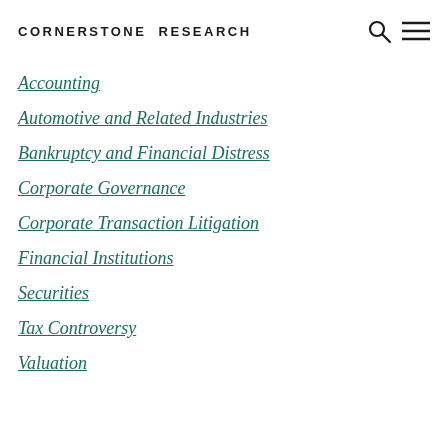CORNERSTONE RESEARCH
Accounting
Automotive and Related Industries
Bankruptcy and Financial Distress
Corporate Governance
Corporate Transaction Litigation
Financial Institutions
Securities
Tax Controversy
Valuation